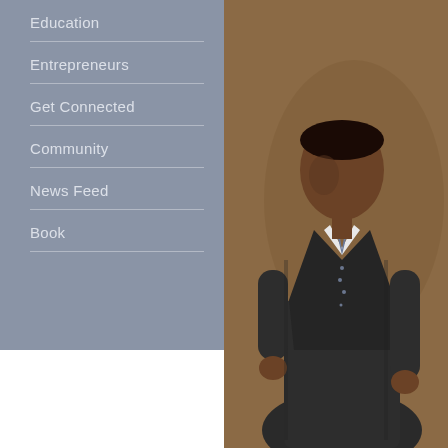Education
Entrepreneurs
Get Connected
Community
News Feed
Book
[Figure (photo): A man in a dark grey suit and tie standing against a warm brown background, professional business portrait]